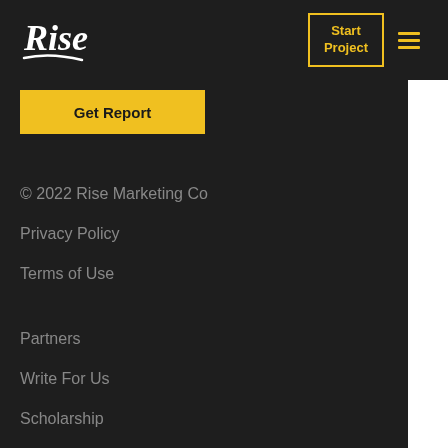[Figure (logo): Rise Marketing Co logo in white italic script with underline]
Start Project
Get Report
© 2022 Rise Marketing Co
Privacy Policy
Terms of Use
Partners
Write For Us
Scholarship